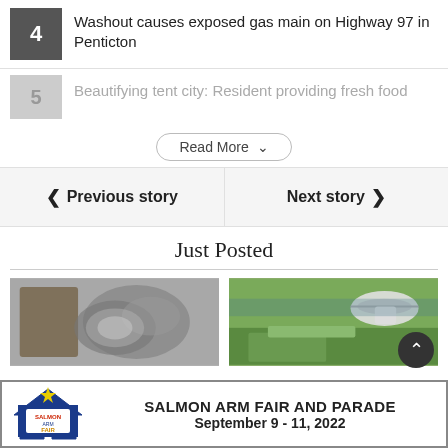4 Washout causes exposed gas main on Highway 97 in Penticton
5 Beautifying tent city: Resident providing fresh food
Read More
Previous story
Next story
Just Posted
[Figure (photo): Photo of decorative metallic heart-shaped items on a wall]
[Figure (photo): Photo of a helicopter near trees in a green outdoor area]
[Figure (other): Advertisement for Salmon Arm Fair and Parade, September 9-11, 2022 with logo]